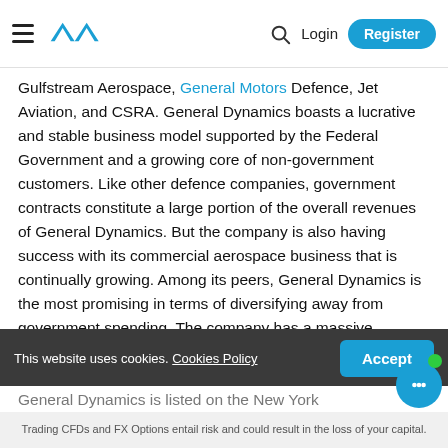AVA [logo] | Search | Login | Register
Gulfstream Aerospace, General Motors Defence, Jet Aviation, and CSRA. General Dynamics boasts a lucrative and stable business model supported by the Federal Government and a growing core of non-government customers. Like other defence companies, government contracts constitute a large portion of the overall revenues of General Dynamics. But the company is also having success with its commercial aerospace business that is continually growing. Among its peers, General Dynamics is the most promising in terms of diversifying away from government spending. The company has a massive Research & Development budget, and its push for a new cluster of customers helps to protect the future of the company.
This website uses cookies. Cookies Policy
General Dynamics is listed on the New York
Trading CFDs and FX Options entail risk and could result in the loss of your capital.